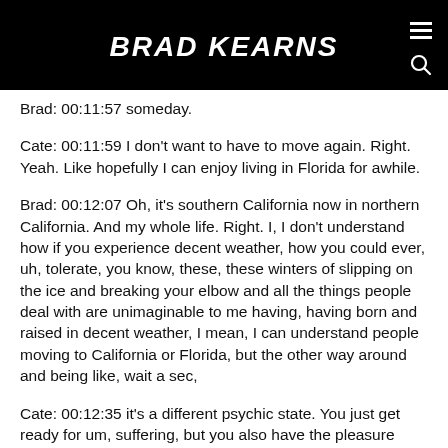BRAD KEARNS
Brad: 00:11:57 someday.
Cate: 00:11:59 I don't want to have to move again. Right. Yeah. Like hopefully I can enjoy living in Florida for awhile.
Brad: 00:12:07 Oh, it's southern California now in northern California. And my whole life. Right. I, I don't understand how if you experience decent weather, how you could ever, uh, tolerate, you know, these, these winters of slipping on the ice and breaking your elbow and all the things people deal with are unimaginable to me having, having born and raised in decent weather, I mean, I can understand people moving to California or Florida, but the other way around and being like, wait a sec,
Cate: 00:12:35 it's a different psychic state. You just get ready for um, suffering, but you also have the pleasure